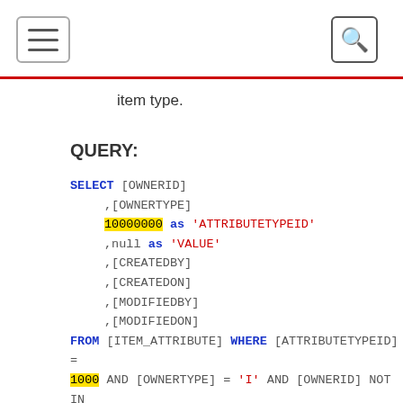Navigation header with hamburger menu and search icon
item type.
QUERY:
SELECT [OWNERID]
,[OWNERTYPE]
,10000000 as 'ATTRIBUTETYPEID'
,null as 'VALUE'
,[CREATEDBY]
,[CREATEDON]
,[MODIFIEDBY]
,[MODIFIEDON]
FROM [ITEM_ATTRIBUTE] WHERE [ATTRIBUTETYPEID] = 1000 AND [OWNERTYPE] = 'I' AND [OWNERID] NOT IN
(SELECT [OWNERID] FROM [ITEM_ATTRIBUTE] WHERE